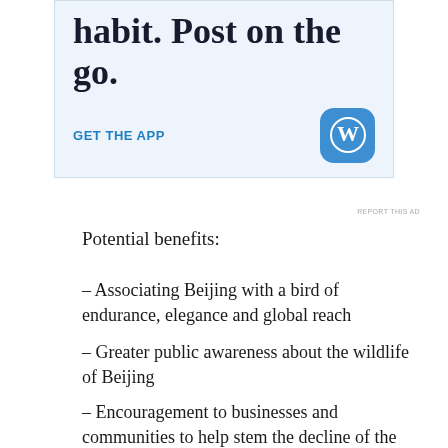[Figure (screenshot): WordPress app advertisement banner with text 'habit. Post on the go.' and 'GET THE APP' call-to-action with WordPress logo icon]
REPORT THIS AD
Potential benefits:
– Associating Beijing with a bird of endurance, elegance and global reach
– Greater public awareness about the wildlife of Beijing
– Encouragement to businesses and communities to help stem the decline of the Beijing Swift – caused by the demolition of traditional buildings – by